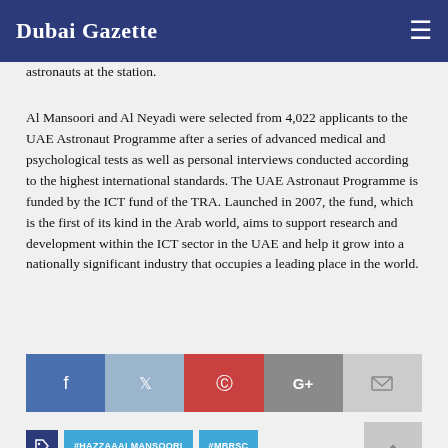Dubai Gazette
astronauts at the station.
Al Mansoori and Al Neyadi were selected from 4,022 applicants to the UAE Astronaut Programme after a series of advanced medical and psychological tests as well as personal interviews conducted according to the highest international standards. The UAE Astronaut Programme is funded by the ICT fund of the TRA. Launched in 2007, the fund, which is the first of its kind in the Arab world, aims to support research and development within the ICT sector in the UAE and help it grow into a nationally significant industry that occupies a leading place in the world.
[Figure (infographic): Social media share buttons: Facebook, Twitter, Pinterest, Google+, Email]
#HAZZAAALMANSOORI
#MBRSC
#UAEASTRONAUTS